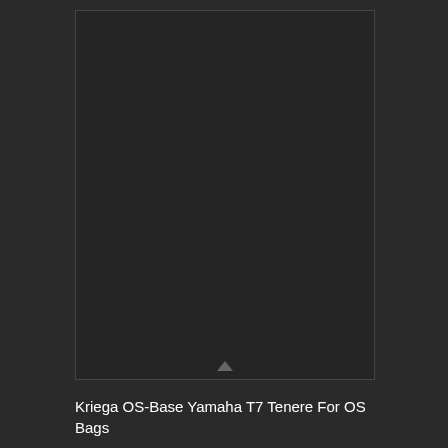[Figure (photo): Dark product image area showing a motorcycle luggage base system (Kriega OS-Base for Yamaha T7 Tenere), displayed against a very dark background with a small upward scroll indicator arrow at the bottom center of the image frame.]
Kriega OS-Base Yamaha T7 Tenere For OS Bags